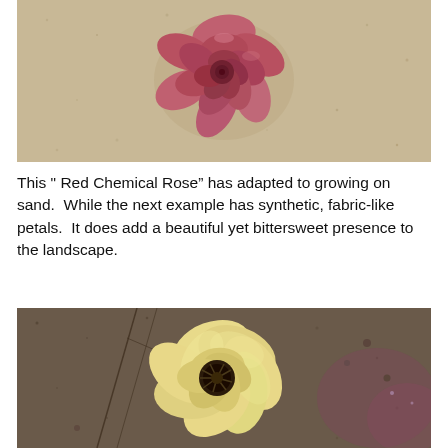[Figure (photo): Aerial/top-down photo of a pink-red rose lying on sandy ground. The rose has layered petals with reddish-pink coloring. The sand is a warm beige/tan color with some small pebbles.]
This " Red Chemical Rose" has adapted to growing on sand.  While the next example has synthetic, fabric-like petals.  It does add a beautiful yet bittersweet presence to the landscape.
[Figure (photo): Close-up photo of a yellow/cream colored flower with ruffled, fabric-like petals lying on dark, gravelly sand. The flower has a dark center and appears artificial or chemically-formed. Background shows wet, dark sand with some reddish/purple areas.]